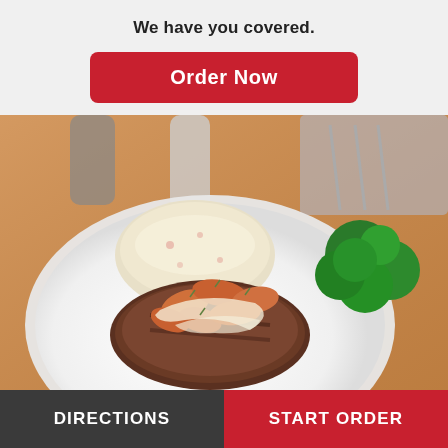We have you covered.
Order Now
[Figure (photo): A restaurant plate with a grilled steak topped with seasoned shrimp and cream sauce, served with mashed potatoes and steamed broccoli on a wooden table with salt and pepper shakers in the background.]
DIRECTIONS
START ORDER